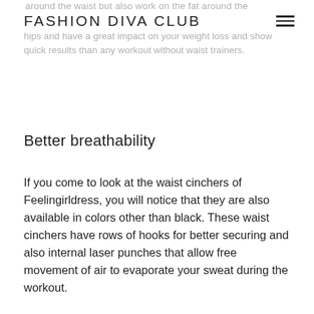FASHION DIVA CLUB
around the waist but also work on the fat around the hips and have a great impact on your weight loss and show quick results than any workout without waist trainers.
Better breathability
If you come to look at the waist cinchers of Feelingirldress, you will notice that they are also available in colors other than black. These waist cinchers have rows of hooks for better securing and also internal laser punches that allow free movement of air to evaporate your sweat during the workout.